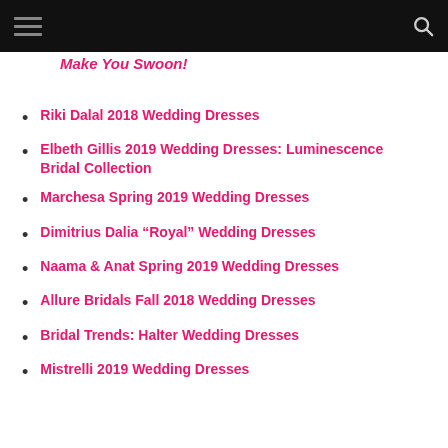Make You Swoon!
Riki Dalal 2018 Wedding Dresses
Elbeth Gillis 2019 Wedding Dresses: Luminescence Bridal Collection
Marchesa Spring 2019 Wedding Dresses
Dimitrius Dalia “Royal” Wedding Dresses
Naama & Anat Spring 2019 Wedding Dresses
Allure Bridals Fall 2018 Wedding Dresses
Bridal Trends: Halter Wedding Dresses
Mistrelli 2019 Wedding Dresses